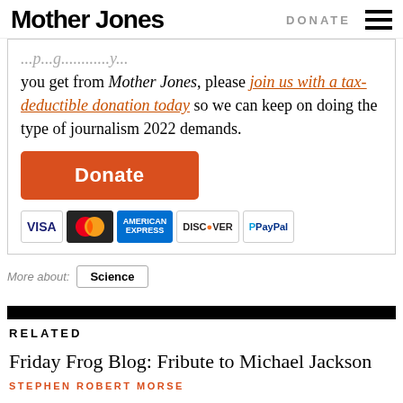Mother Jones | DONATE
you get from Mother Jones, please join us with a tax-deductible donation today so we can keep on doing the type of journalism 2022 demands.
[Figure (other): Orange Donate button followed by payment method icons: VISA, MasterCard, American Express, Discover, PayPal]
More about: Science
RELATED
Friday Frog Blog: Fribute to Michael Jackson
STEPHEN ROBERT MORSE